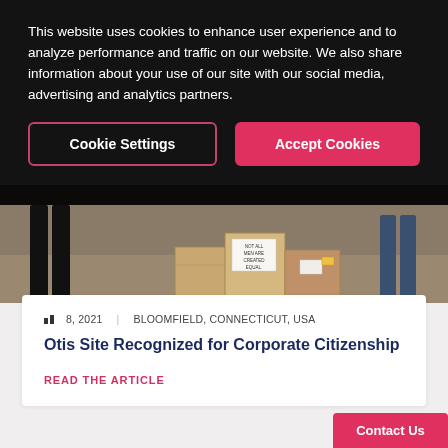This website uses cookies to enhance user experience and to analyze performance and traffic on our website. We also share information about your use of our site with our social media, advertising and analytics partners.
Cookie Settings
Accept Cookies
[Figure (photo): People standing near cardboard boxes outdoors, partial view of legs and stacked boxes with labels]
8, 2021  |  BLOOMFIELD, CONNECTICUT, USA
Otis Site Recognized for Corporate Citizenship
READ THE ARTICLE
Contact Us